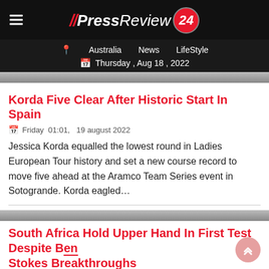// PressReview 24
Australia   News   LifeStyle   Thursday , Aug 18 , 2022
Korda Five Clear After Historic Start In Spain
Friday 01:01, 19 august 2022
Jessica Korda equalled the lowest round in Ladies European Tour history and set a new course record to move five ahead at the Aramco Team Series event in Sotogrande. Korda eagled...
South Africa Hold Upper Hand In First Test Despite Ben Stokes Breakthroughs